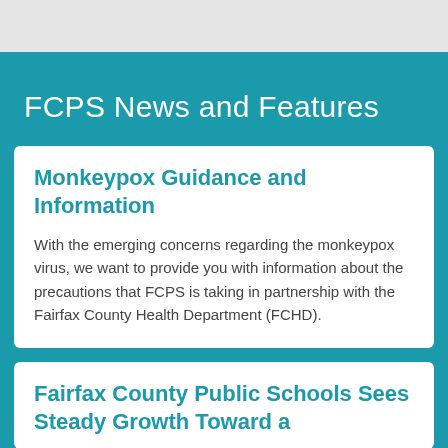FCPS News and Features
Monkeypox Guidance and Information
With the emerging concerns regarding the monkeypox virus, we want to provide you with information about the precautions that FCPS is taking in partnership with the Fairfax County Health Department (FCHD).
Fairfax County Public Schools Sees Steady Growth Toward a